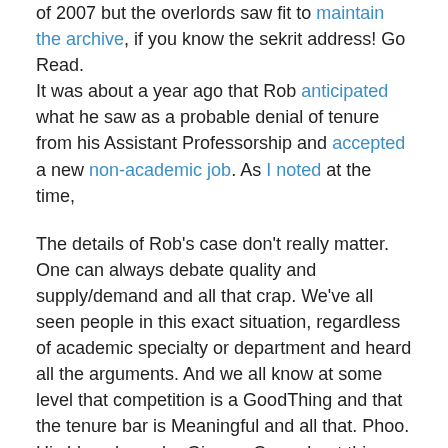of 2007 but the overlords saw fit to maintain the archive, if you know the sekrit address! Go Read. It was about a year ago that Rob anticipated what he saw as a probable denial of tenure from his Assistant Professorship and accepted a new non-academic job. As I noted at the time,
The details of Rob's case don't really matter. One can always debate quality and supply/demand and all that crap. We've all seen people in this exact situation, regardless of academic specialty or department and heard all the arguments. And we all know at some level that competition is a GoodThing and that the tenure bar is Meaningful and all that. Phoo. His blog shows he Gives a Crap about things, I'm therefore inclined to believe he's a decent professor in my book. He's going to move onto a new job where they actually appreciate him and five years